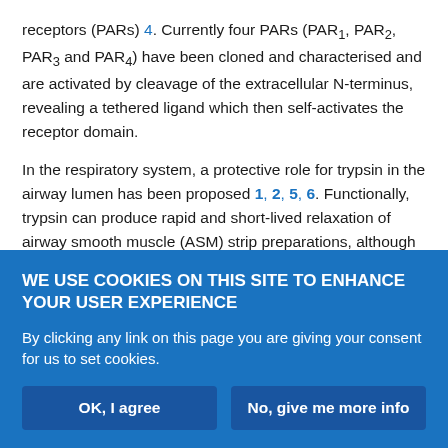receptors (PARs) 4. Currently four PARs (PAR1, PAR2, PAR3 and PAR4) have been cloned and characterised and are activated by cleavage of the extracellular N-terminus, revealing a tethered ligand which then self-activates the receptor domain.
In the respiratory system, a protective role for trypsin in the airway lumen has been proposed 1, 2, 5, 6. Functionally, trypsin can produce rapid and short-lived relaxation of airway smooth muscle (ASM) strip preparations, although findings from different species and/or studies are not uniform 5, 7–10; for example, in human ASM, trypsin may cause excitation rather than relaxation 11. Trypsin activates PAR1 and PAR2 1, 2, 4 and, since synthetic peptides (PAR...
WE USE COOKIES ON THIS SITE TO ENHANCE YOUR USER EXPERIENCE
By clicking any link on this page you are giving your consent for us to set cookies.